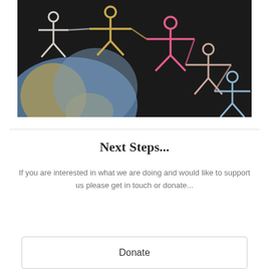[Figure (photo): Chalk drawing on blackboard showing colorful stick figures (white, yellow, pink, beige, light blue) holding hands in a chain around a chalk-drawn globe/earth]
Next Steps...
If you are interested in what we are doing and would like to support us please get in touch or donate...
Donate